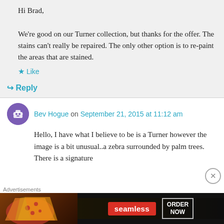Hi Brad,
We're good on our Turner collection, but thanks for the offer. The stains can't really be repaired. The only other option is to re-paint the areas that are stained.
★ Like
↪ Reply
Bev Hogue on September 21, 2015 at 11:12 am
Hello, I have what I believe to be is a Turner however the image is a bit unusual..a zebra surrounded by palm trees. There is a signature
[Figure (screenshot): Advertisement banner for Seamless food ordering service with pizza image on the left and 'seamless ORDER NOW' button on the right on dark background]
Advertisements